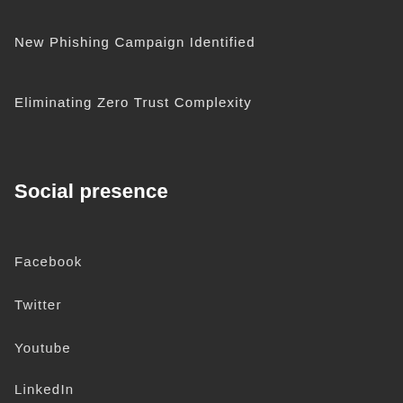New Phishing Campaign Identified
Eliminating Zero Trust Complexity
Social presence
Facebook
Twitter
Youtube
LinkedIn